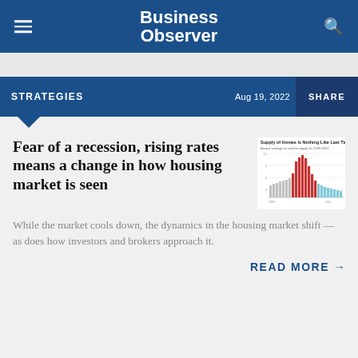Business Observer
STRATEGIES
Aug 19, 2022
SHARE
Fear of a recession, rising rates means a change in how housing market is seen
[Figure (bar-chart): Supply of Homes Is Nothing Like Last Time — bar chart showing annual average of months supply for 1999-2021, with red bars in middle period and light blue bars at end]
While the market cools down, the dynamics in the housing market shift — as does how investors and brokers approach it.
READ MORE →